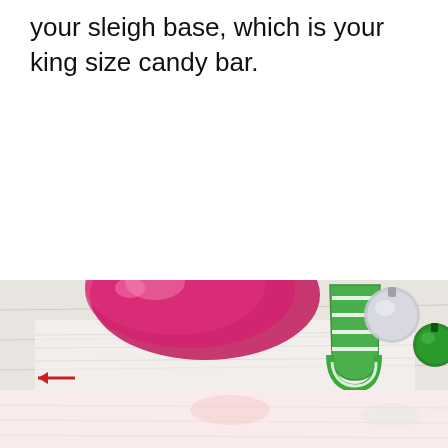your sleigh base, which is your king size candy bar.
[Figure (photo): Photo of candy sleigh craft supplies on a white surface: a pink/magenta glitter ornament ball on the left, green and white striped candy canes formed into a U-shape runner, a red Hershey's Kiss candy in the center, a silver/grey ornament on the right, and a green candy/ornament on the far right. A red arrow points left at the bottom left. Below is a lighter toned reflected surface with pink hues.]